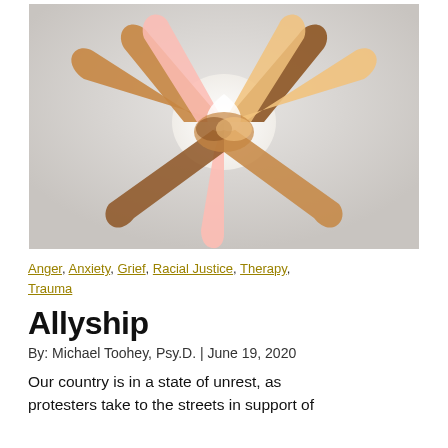[Figure (photo): Multiple hands of diverse skin tones arranged in a circle forming a heart shape, photographed from below against a light gray background.]
Anger, Anxiety, Grief, Racial Justice, Therapy, Trauma
Allyship
By: Michael Toohey, Psy.D. | June 19, 2020
Our country is in a state of unrest, as protesters take to the streets in support of